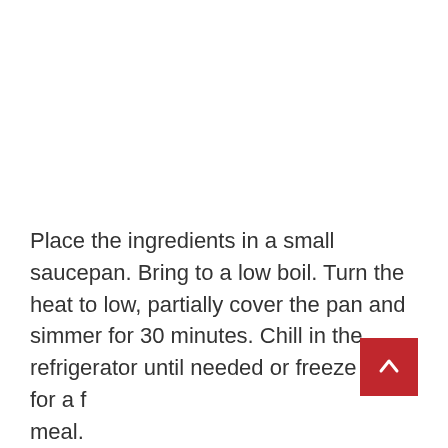Place the ingredients in a small saucepan. Bring to a low boil. Turn the heat to low, partially cover the pan and simmer for 30 minutes. Chill in the refrigerator until needed or freeze some for a f… meal.